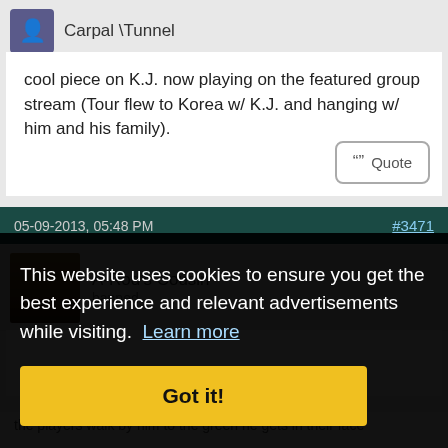Carpal \Tunnel
cool piece on K.J. now playing on the featured group stream (Tour flew to Korea w/ K.J. and hanging w/ him and his family).
Quote
05-09-2013, 05:48 PM
#3471
A-Rod's Cousin
banned
This website uses cookies to ensure you get the best experience and relevant advertisements while visiting. Learn more
Got it!
the players walk by him to the green he gets in their face